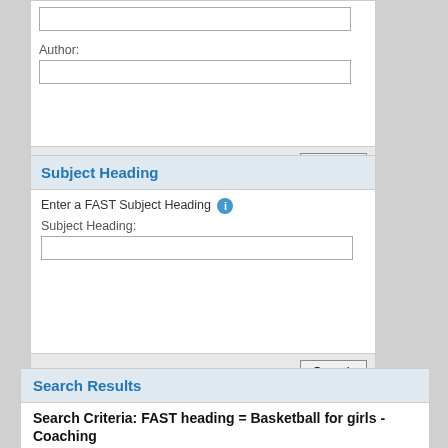Author:
(text input field for author)
Search
Subject Heading
Enter a FAST Subject Heading
Subject Heading:
(text input field for subject heading)
Search
Search Results
Search Criteria: FAST heading = Basketball for girls - Coaching